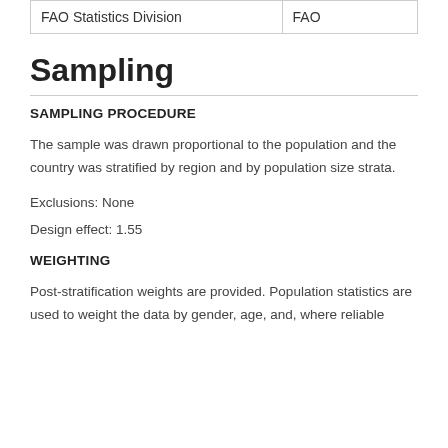| FAO Statistics Division | FAO |
Sampling
SAMPLING PROCEDURE
The sample was drawn proportional to the population and the country was stratified by region and by population size strata.
Exclusions: None
Design effect: 1.55
WEIGHTING
Post-stratification weights are provided. Population statistics are used to weight the data by gender, age, and, where reliable